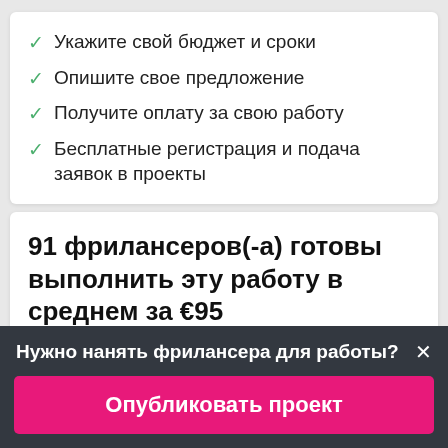Укажите свой бюджет и сроки
Опишите свое предложение
Получите оплату за свою работу
Бесплатные регистрация и подача заявок в проекты
91 фрилансеров(-а) готовы выполнить эту работу в среднем за €95
Нужно нанять фрилансера для работы?
Опубликовать проект